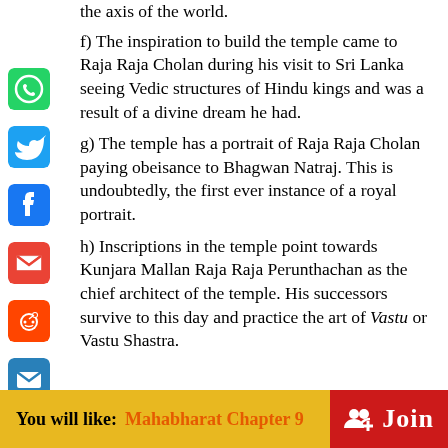the axis of the world.
f) The inspiration to build the temple came to Raja Raja Cholan during his visit to Sri Lanka seeing Vedic structures of Hindu kings and was a result of a divine dream he had.
g) The temple has a portrait of Raja Raja Cholan paying obeisance to Bhagwan Natraj. This is undoubtedly, the first ever instance of a royal portrait.
h) Inscriptions in the temple point towards Kunjara Mallan Raja Raja Perunthachan as the chief architect of the temple. His successors survive to this day and practice the art of Vastu or Vastu Shastra.
You will like: Mahabharat Chapter 9